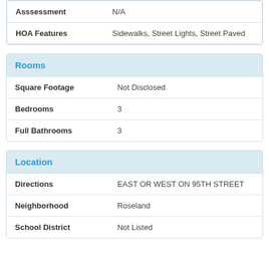| Field | Value |
| --- | --- |
| Asssessment | N/A |
| HOA Features | Sidewalks, Street Lights, Street Paved |
Rooms
| Field | Value |
| --- | --- |
| Square Footage | Not Disclosed |
| Bedrooms | 3 |
| Full Bathrooms | 3 |
Location
| Field | Value |
| --- | --- |
| Directions | EAST OR WEST ON 95TH STREET |
| Neighborhood | Roseland |
| School District | Not Listed |